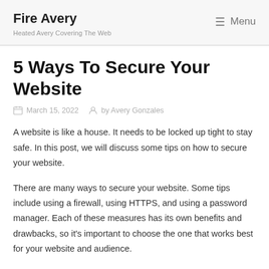Fire Avery
Heated Avery Covering The Web
5 Ways To Secure Your Website
March 15, 2022   by Avery Gonzales
A website is like a house. It needs to be locked up tight to stay safe. In this post, we will discuss some tips on how to secure your website.
There are many ways to secure your website. Some tips include using a firewall, using HTTPS, and using a password manager. Each of these measures has its own benefits and drawbacks, so it's important to choose the one that works best for your website and audience.